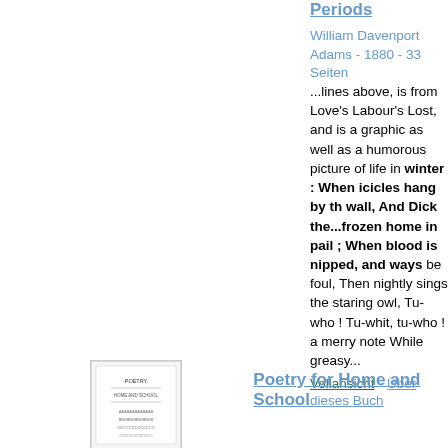Periods
William Davenport Adams - 1880 - 33 Seiten
...lines above, is from Love's Labour's Lost, and is a graphic as well as a humorous picture of life in winter : When icicles hang by th wall, And Dick the...frozen home in pail ; When blood is nipped, and ways be foul, Then nightly sings the staring owl, Tu-who ! Tu-whit, tu-who ! a merry note While greasy...
Vollansicht - Über dieses Buch
[Figure (illustration): Small thumbnail image of a book cover for 'Poetry for Home and School']
Poetry for Home and School